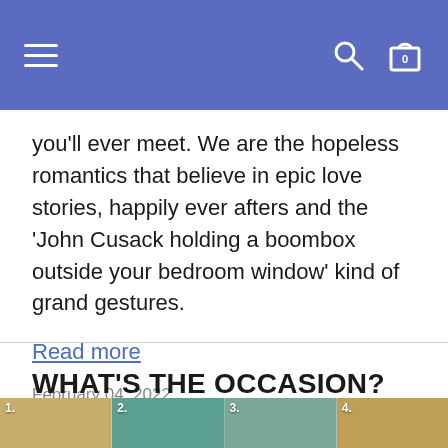Navigation bar with hamburger menu, search icon, and shopping bag icon (0 items)
you'll ever meet. We are the hopeless romantics that believe in epic love stories, happily ever afters and the 'John Cusack holding a boombox outside your bedroom window' kind of grand gestures.
Read more
February 04, 2022
WHAT'S THE OCCASION?
[Figure (photo): Bottom strip showing 4 image columns with numbers 1, 2, 3, 4 — partial view of an occasion-themed image grid]